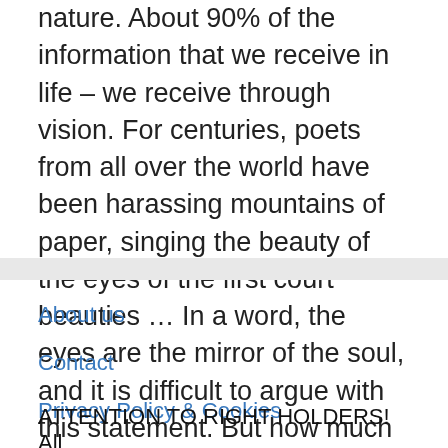nature. About 90% of the information that we receive in life – we receive through vision. For centuries, poets from all over the world have been harassing mountains of paper, singing the beauty of the eyes of the first court beauties … In a word, the eyes are the mirror of the soul, and it is difficult to argue with this statement. But how much do you know about eyes and vision?
About us
Contact
Privacy Policy & Cookies
ATTENTION TO RIGHT HOLDERS! All